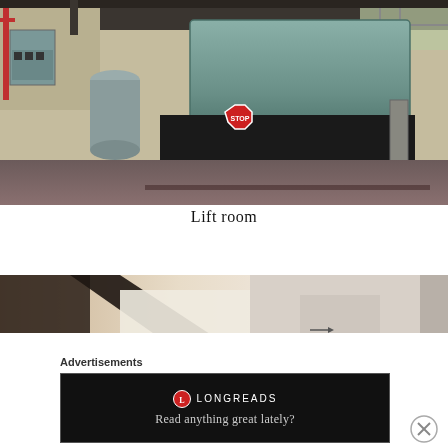[Figure (photo): Interior of an abandoned lift room showing industrial machinery including large green metal equipment, a stop sign on a black platform, electrical panels on the left wall, and concrete floors under dim lighting.]
Lift room
[Figure (photo): Partial view of an abandoned interior space seen through a window or door frame, with blurred dark structural elements in the foreground and hazy light interior beyond.]
Advertisements
[Figure (screenshot): Longreads advertisement banner with a red circular logo, the text LONGREADS, and tagline 'Read anything great lately?' on a dark/black background.]